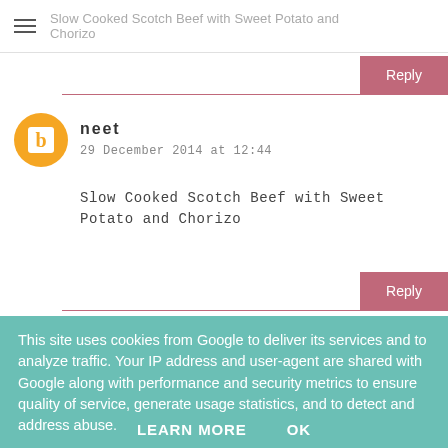Slow Cooked Scotch Beef with Sweet Potato and Chorizo
neet
29 December 2014 at 12:44

Slow Cooked Scotch Beef with Sweet Potato and Chorizo
This site uses cookies from Google to deliver its services and to analyze traffic. Your IP address and user-agent are shared with Google along with performance and security metrics to ensure quality of service, generate usage statistics, and to detect and address abuse.

LEARN MORE    OK